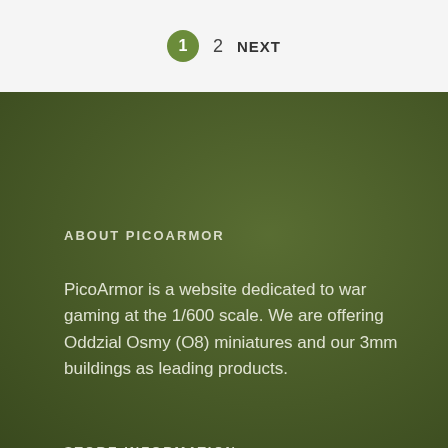1  2  NEXT
ABOUT PICOARMOR
PicoArmor is a website dedicated to war gaming at the 1/600 scale. We are offering Oddzial Osmy (O8) miniatures and our 3mm buildings as leading products.
STORE INFORMATION
432 Dunford Drive